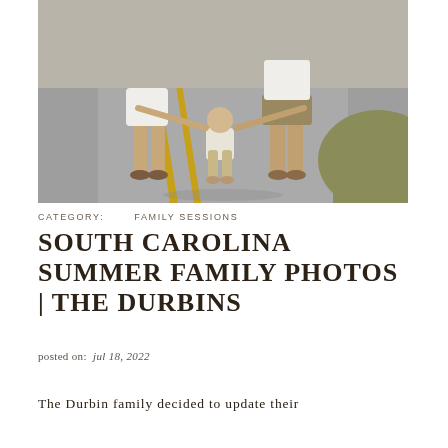[Figure (photo): Family photo of two parents and a toddler walking away from the camera on a road with yellow center lines. The mother is on the left wearing a white dress, the father is on the right wearing a white shirt and khaki shorts, and the baby in white and tan is in the middle, held by both parents' hands. There is grass visible on the right side of the road.]
CATEGORY:   FAMILY SESSIONS
SOUTH CAROLINA SUMMER FAMILY PHOTOS | THE DURBINS
posted on:   jul 18, 2022
The Durbin family decided to update their